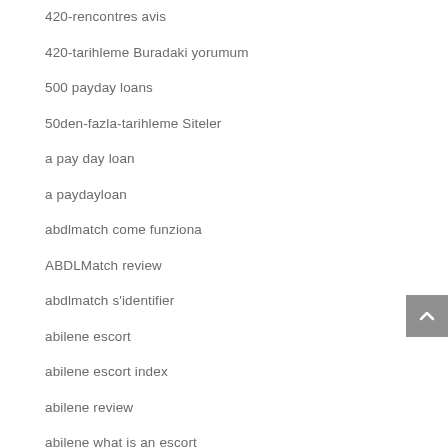420-rencontres avis
420-tarihleme Buradaki yorumum
500 payday loans
50den-fazla-tarihleme Siteler
a pay day loan
a paydayloan
abdlmatch come funziona
ABDLMatch review
abdlmatch s'identifier
abilene escort
abilene escort index
abilene review
abilene what is an escort
adam4adam dating
Adam4adam seite